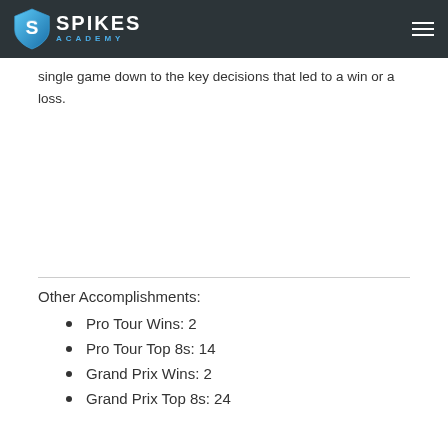Spikes Academy
single game down to the key decisions that led to a win or a loss.
Other Accomplishments:
Pro Tour Wins: 2
Pro Tour Top 8s: 14
Grand Prix Wins: 2
Grand Prix Top 8s: 24